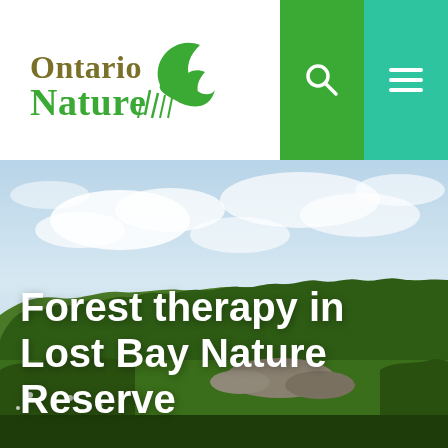[Figure (logo): Ontario Nature logo with green bird/leaf graphic and text 'Ontario Nature' in green and dark olive/brown]
[Figure (photo): Landscape photograph showing a forest of green trees under a partly cloudy sky, with rocky ground and vegetation in the foreground. This is Lost Bay Nature Reserve.]
Forest therapy in Lost Bay Nature Reserve